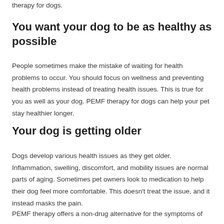therapy for dogs.
You want your dog to be as healthy as possible
People sometimes make the mistake of waiting for health problems to occur. You should focus on wellness and preventing health problems instead of treating health issues. This is true for you as well as your dog. PEMF therapy for dogs can help your pet stay healthier longer.
Your dog is getting older
Dogs develop various health issues as they get older. Inflammation, swelling, discomfort, and mobility issues are normal parts of aging. Sometimes pet owners look to medication to help their dog feel more comfortable. This doesn't treat the issue, and it instead masks the pain.
PEMF therapy offers a non-drug alternative for the symptoms of